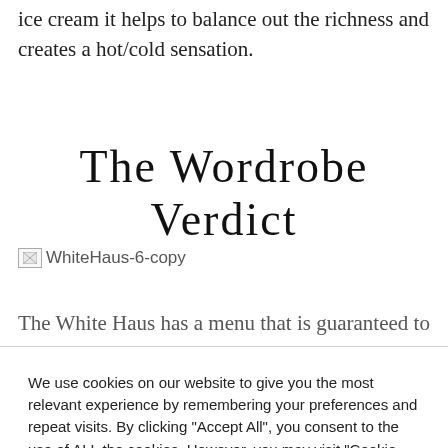ice cream it helps to balance out the richness and creates a hot/cold sensation.
The Wordrobe Verdict
[Figure (photo): Broken image placeholder labeled WhiteHaus-6-copy]
The White Haus has a menu that is guaranteed to
We use cookies on our website to give you the most relevant experience by remembering your preferences and repeat visits. By clicking "Accept All", you consent to the use of ALL the cookies. However, you may visit "Cookie Settings" to provide a controlled consent.